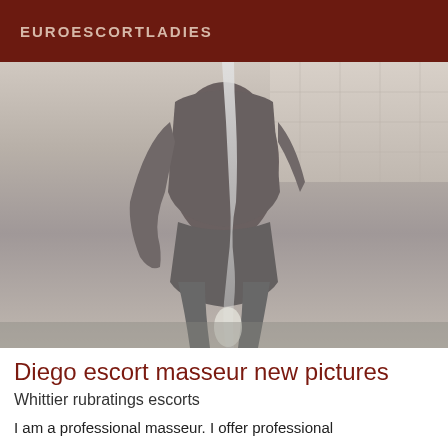EUROESCORTLADIES
[Figure (photo): Black and white photograph of a nude male figure standing in a shower, water running down the body, tiled wall visible in background]
Diego escort masseur new pictures
Whittier rubratings escorts
I am a professional masseur. I offer professional